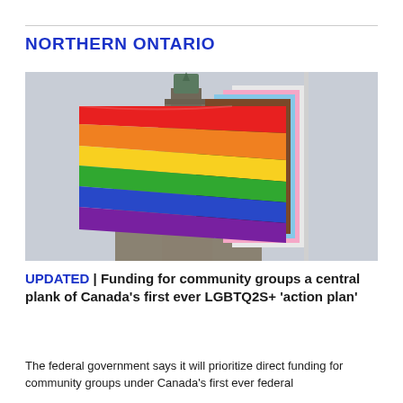NORTHERN ONTARIO
[Figure (photo): A progress pride flag (rainbow with additional black, brown, pink, white, and light blue stripes) flying on a flagpole in front of the Peace Tower on Parliament Hill in Ottawa. The sky is overcast grey.]
UPDATED | Funding for community groups a central plank of Canada's first ever LGBTQ2S+ 'action plan'
The federal government says it will prioritize direct funding for community groups under Canada's first ever federal